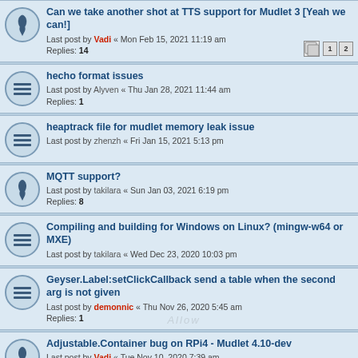Can we take another shot at TTS support for Mudlet 3 [Yeah we can!] Last post by Vadi « Mon Feb 15, 2021 11:19 am Replies: 14
hecho format issues Last post by Alyven « Thu Jan 28, 2021 11:44 am Replies: 1
heaptrack file for mudlet memory leak issue Last post by zhenzh « Fri Jan 15, 2021 5:13 pm
MQTT support? Last post by takilara « Sun Jan 03, 2021 6:19 pm Replies: 8
Compiling and building for Windows on Linux? (mingw-w64 or MXE) Last post by takilara « Wed Dec 23, 2020 10:03 pm
Geyser.Label:setClickCallback send a table when the second arg is not given Last post by demonnic « Thu Nov 26, 2020 5:45 am Replies: 1
Adjustable.Container bug on RPi4 - Mudlet 4.10-dev Last post by Vadi « Tue Nov 10, 2020 7:39 am Replies: 10
Bugs in MXP implementation, is this work in progress? Last post by freshman « Sat Oct 24, 2020 2:04 pm Replies: 10